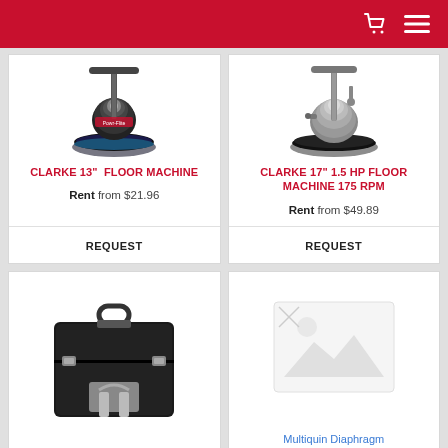Navigation header with cart and menu icons
[Figure (photo): Clarke 13-inch floor machine product photo - black floor buffer machine]
CLARKE 13" FLOOR MACHINE
Rent from $21.96
REQUEST
[Figure (photo): Clarke 17-inch 1.5 HP floor machine product photo - silver and black floor buffer]
CLARKE 17" 1.5 HP FLOOR MACHINE 175 RPM
Rent from $49.89
REQUEST
[Figure (photo): Black carry case with gray handle/latch mechanism for equipment]
[Figure (photo): Multiquin Diaphragm product - partially visible at bottom right]